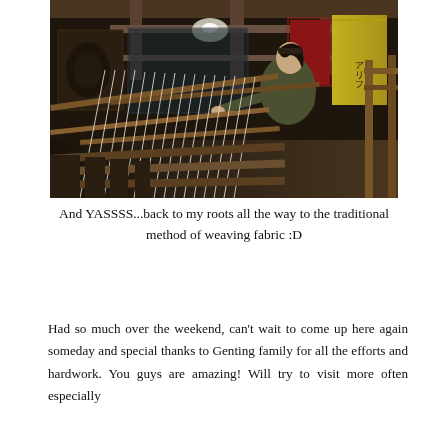[Figure (photo): A person operating a traditional wooden loom in what appears to be a museum or cultural exhibition. White threads are stretched across the loom in the foreground. Colorful fabric pieces hang in the background. The setting has dark wooden beams and glass panels.]
And YASSSS...back to my roots all the way to the traditional method of weaving fabric :D
Had so much over the weekend, can't wait to come up here again someday and special thanks to Genting family for all the efforts and hardwork. You guys are amazing! Will try to visit more often especially